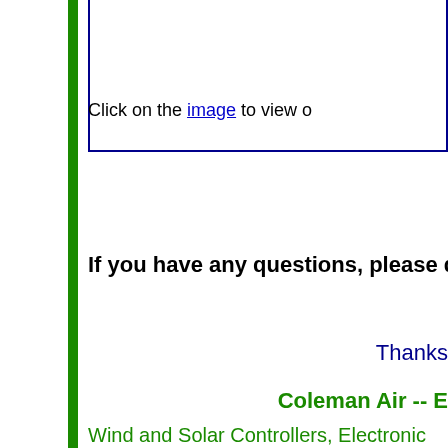Click on the image to view o
If you have any questions, please do
Thanks
Coleman Air -- E
Wind and Solar Controllers, Electronic